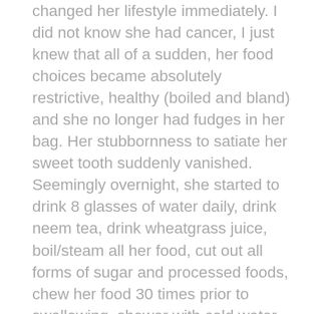changed her lifestyle immediately. I did not know she had cancer, I just knew that all of a sudden, her food choices became absolutely restrictive, healthy (boiled and bland) and she no longer had fudges in her bag. Her stubbornness to satiate her sweet tooth suddenly vanished. Seemingly overnight, she started to drink 8 glasses of water daily, drink neem tea, drink wheatgrass juice, boil/steam all her food, cut out all forms of sugar and processed foods, chew her food 30 times prior to swallowing, shower with cold water and have daily reflexology massages. It was weird. But I was young and unaware, so I just went with the flow and would make fun of her as she slowly chewed her food and washed it down with a disgusting glass of spinach juice. A few months later, she was rushed to hospital and my father